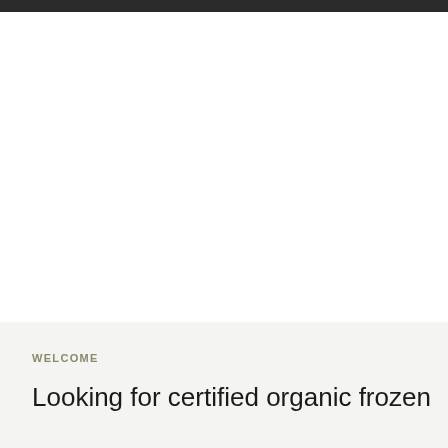WELCOME
Looking for certified organic frozen